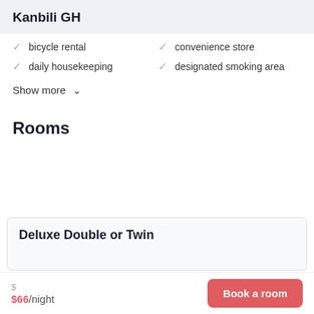Kanbili GH
bicycle rental
convenience store
daily housekeeping
designated smoking area
Show more
Rooms
Deluxe Double or Twin
$66/night
Book a room